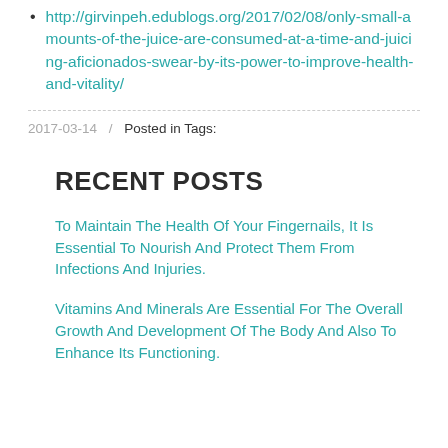http://girvinpeh.edublogs.org/2017/02/08/only-small-amounts-of-the-juice-are-consumed-at-a-time-and-juicing-aficionados-swear-by-its-power-to-improve-health-and-vitality/
2017-03-14   /   Posted in Tags:
RECENT POSTS
To Maintain The Health Of Your Fingernails, It Is Essential To Nourish And Protect Them From Infections And Injuries.
Vitamins And Minerals Are Essential For The Overall Growth And Development Of The Body And Also To Enhance Its Functioning.